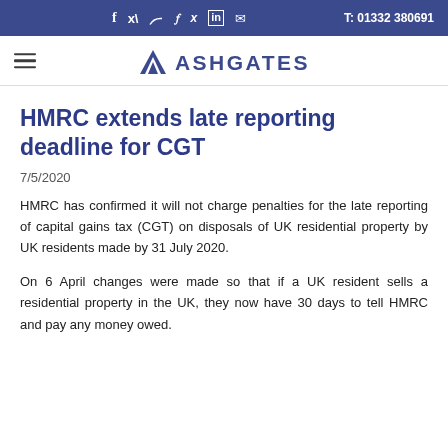f  y  in  ✉  T: 01332 380691
[Figure (logo): Ashgates logo with triangle icon and company name]
HMRC extends late reporting deadline for CGT
7/5/2020
HMRC has confirmed it will not charge penalties for the late reporting of capital gains tax (CGT) on disposals of UK residential property by UK residents made by 31 July 2020.
On 6 April changes were made so that if a UK resident sells a residential property in the UK, they now have 30 days to tell HMRC and pay any money owed.